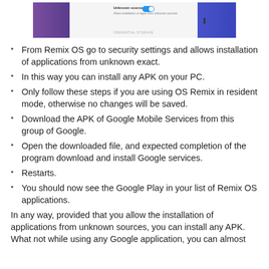[Figure (screenshot): Android security settings screen showing 'Unknown sources' toggle enabled (blue), with purple/blue gradient background on sides and light grey center panel. Text reads 'Unknown sources', 'Allow installation of apps from unknown sources', and 'CREDENTIAL STORAGE' at bottom.]
From Remix OS go to security settings and allows installation of applications from unknown exact.
In this way you can install any APK on your PC.
Only follow these steps if you are using OS Remix in resident mode, otherwise no changes will be saved.
Download the APK of Google Mobile Services from this group of Google.
Open the downloaded file, and expected completion of the program download and install Google services.
Restarts.
You should now see the Google Play in your list of Remix OS applications.
In any way, provided that you allow the installation of applications from unknown sources, you can install any APK. What not while using any Google application, you can almost